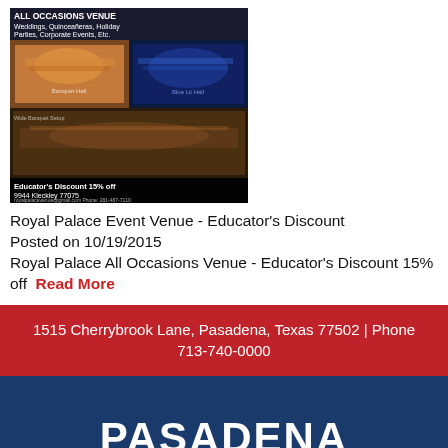[Figure (photo): Royal Palace All Occasions Venue advertisement image showing banquet hall setups with text overlay: ALL OCCASIONS VENUE Weddings, Quinceañeras, Holiday Parties, Corporate Events, Etc. Educator's Discount 15% off 9944 Kleckley 77075]
Royal Palace Event Venue - Educator's Discount
Posted on 10/19/2015
Royal Palace All Occasions Venue - Educator's Discount 15% off Read More
1515 Cherrybrook Lane, Pasadena, Texas 77502 | Phone 713-740-0000
PASADENA
Independent School District
Notice to Persons with Disabilities